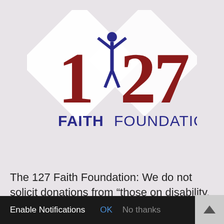[Figure (logo): 127 Faith Foundation logo: two overlapping white diamond shapes with large red numerals '1' and '27', a dark blue silhouette of a person with arms raised forming the digit between 1 and 27, and the text 'FAITH FOUNDATION' in bold dark blue below]
The 127 Faith Foundation: We do not solicit donations from “those on disability, on a fixed income, or those who cannot afford to give.”
Enable Notifications  OK  No thanks